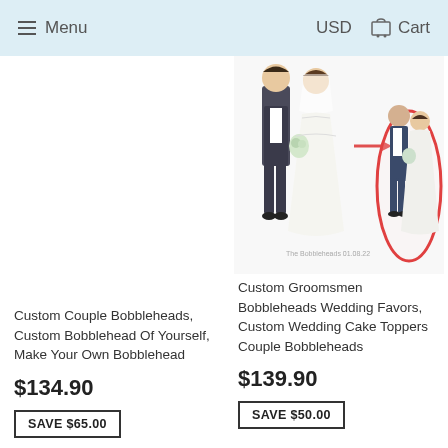Menu  USD  Cart
[Figure (illustration): Custom couple bobblehead figurines — bride and groom in wedding attire (partially visible, cut off at top)]
Custom Couple Bobbleheads, Custom Bobblehead Of Yourself, Make Your Own Bobblehead
$134.90
SAVE $65.00
[Figure (illustration): Custom groomsmen bobblehead wedding favors — illustrated wedding couple figurines with red oval highlight circle]
Custom Groomsmen Bobbleheads Wedding Favors, Custom Wedding Cake Toppers Couple Bobbleheads
$139.90
SAVE $50.00